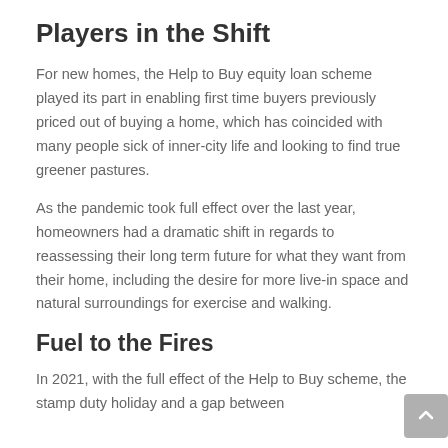Players in the Shift
For new homes, the Help to Buy equity loan scheme played its part in enabling first time buyers previously priced out of buying a home, which has coincided with many people sick of inner-city life and looking to find true greener pastures.
As the pandemic took full effect over the last year, homeowners had a dramatic shift in regards to reassessing their long term future for what they want from their home, including the desire for more live-in space and natural surroundings for exercise and walking.
Fuel to the Fires
In 2021, with the full effect of the Help to Buy scheme, the stamp duty holiday and a gap between